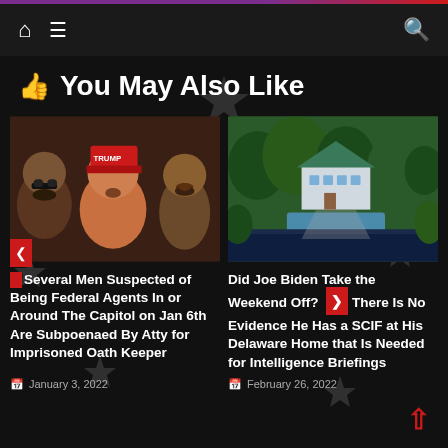Navigation bar with home, menu, and search icons
👍 You May Also Like
[Figure (photo): Photo of several men, one wearing a red MAGA hat]
[Figure (photo): Aerial photo of a large house with green trees and water]
Several Men Suspected of Being Federal Agents In or Around The Capitol on Jan 6th Are Subpoenaed By Atty for Imprisoned Oath Keeper
Did Joe Biden Take the Weekend Off? There Is No Evidence He Has a SCIF at His Delaware Home that Is Needed for Intelligence Briefings
January 3, 2022
February 26, 2022